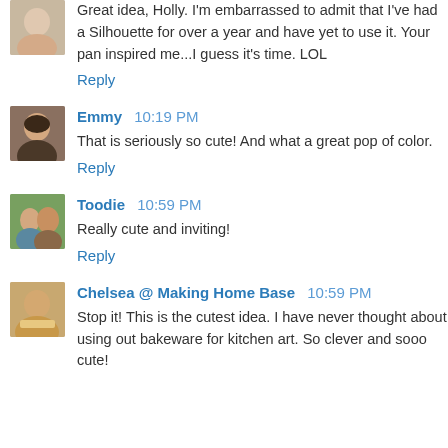[Figure (photo): Small avatar portrait photo, partially visible at top-left]
Great idea, Holly. I'm embarrassed to admit that I've had a Silhouette for over a year and have yet to use it. Your pan inspired me...I guess it's time. LOL
Reply
[Figure (photo): Small avatar portrait photo of a woman]
Emmy  10:19 PM
That is seriously so cute! And what a great pop of color.
Reply
[Figure (photo): Small avatar portrait photo of a couple]
Toodie  10:59 PM
Really cute and inviting!
Reply
[Figure (photo): Small avatar portrait photo of a woman]
Chelsea @ Making Home Base  10:59 PM
Stop it! This is the cutest idea. I have never thought about using out bakeware for kitchen art. So clever and sooo cute!